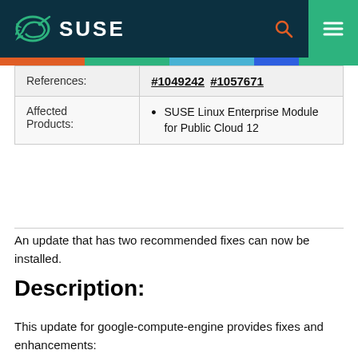SUSE
|  |  |
| --- | --- |
| References: | #1049242 #1057671 |
| Affected Products: | SUSE Linux Enterprise Module for Public Cloud 12 |
An update that has two recommended fixes can now be installed.
Description:
This update for google-compute-engine provides fixes and enhancements:
- Support oslogin feature. (bsc#1049242,